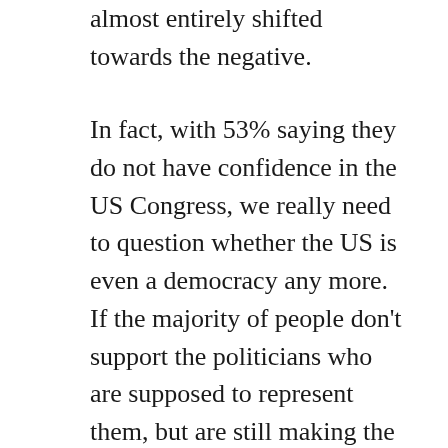almost entirely shifted towards the negative.
In fact, with 53% saying they do not have confidence in the US Congress, we really need to question whether the US is even a democracy any more. If the majority of people don't support the politicians who are supposed to represent them, but are still making the rules, what we actually have is a form a faux-representative dictatorship.
Mind you, this is not just happening the US. We see this in all western countries. In my country, our current Government is only representative of 18.5% of the public. Look at